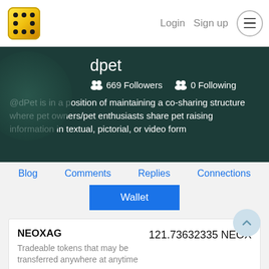Login  Sign up  ☰
dpet
669 Followers   0 Following
@dPet is in a position of maintaining a co-sharing structure where pet owners/pet enthusiasts share pet raising information in textual, pictorial, or video form
Blog
Comments
Replies
Connections
Wallet
NEOXAG
Tradeable tokens that may be transferred anywhere at anytime
121.73632335 NEOX